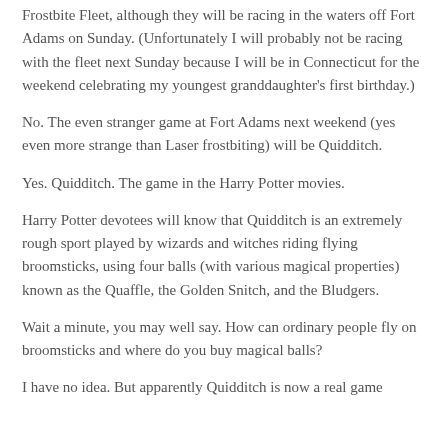Frostbite Fleet, although they will be racing in the waters off Fort Adams on Sunday. (Unfortunately I will probably not be racing with the fleet next Sunday because I will be in Connecticut for the weekend celebrating my youngest granddaughter's first birthday.)
No. The even stranger game at Fort Adams next weekend (yes even more strange than Laser frostbiting) will be Quidditch.
Yes. Quidditch. The game in the Harry Potter movies.
Harry Potter devotees will know that Quidditch is an extremely rough sport played by wizards and witches riding flying broomsticks, using four balls (with various magical properties) known as the Quaffle, the Golden Snitch, and the Bludgers.
Wait a minute, you may well say. How can ordinary people fly on broomsticks and where do you buy magical balls?
I have no idea. But apparently Quidditch is now a real game